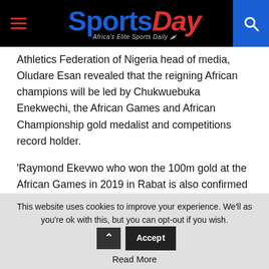SportsDay – Africa's Elite Sports Daily
Athletics Federation of Nigeria head of media, Oludare Esan revealed that the reigning African champions will be led by Chukwuebuka Enekwechi, the African Games and African Championship gold medalist and competitions record holder.
'Raymond Ekevwo who won the 100m gold at the African Games in 2019 in Rabat is also confirmed and will be battling not just for the ticket but also his first national title in the blue ribband event,' said Esan.
This website uses cookies to improve your experience. We'll assume you're ok with this, but you can opt-out if you wish. Accept. Read More